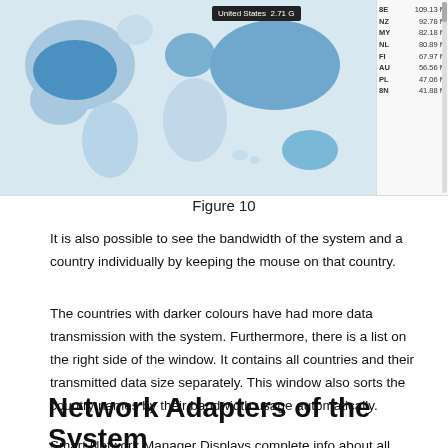[Figure (screenshot): Screenshot of a world map showing bandwidth usage by country with darker blue shading for higher usage. A tooltip shows 'United States 2.71 G'. A sidebar on the right lists country codes and data sizes: 8E 109.13 M, NZ 92.78 M, MY 82.18 M, NL 80.89 M, FI 67.97 M, AU 56.56 M, PL 47.06 M, 8N 41.88 M with a scrollbar.]
Figure 10
It is also possible to see the bandwidth of the system and a country individually by keeping the mouse on that country.
The countries with darker colours have had more data transmission with the system. Furthermore, there is a list on the right side of the window. It contains all countries and their transmitted data size separately. This window also sorts the country names by their bandwidth usage automatically.
Network Adapters of the System
Smart Network Manager Displays complete info about all network